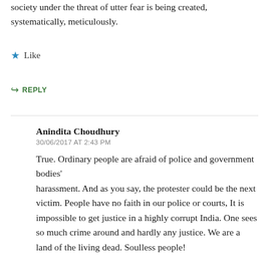society under the threat of utter fear is being created, systematically, meticulously.
★ Like
↳ REPLY
Anindita Choudhury
30/06/2017 AT 2:43 PM
True. Ordinary people are afraid of police and government bodies' harassment. And as you say, the protester could be the next victim. People have no faith in our police or courts, It is impossible to get justice in a highly corrupt India. One sees so much crime around and hardly any justice. We are a land of the living dead. Soulless people!